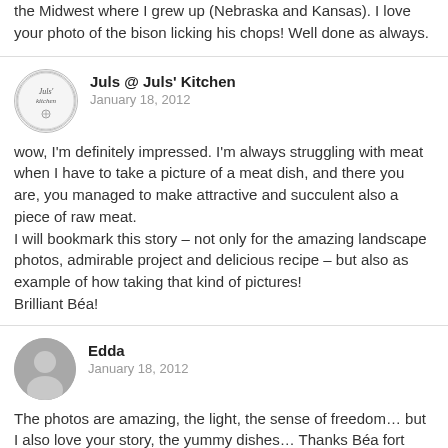the Midwest where I grew up (Nebraska and Kansas). I love your photo of the bison licking his chops! Well done as always.
[Figure (illustration): Circular logo for Juls Kitchen with cursive handwriting text]
Juls @ Juls' Kitchen
January 18, 2012

wow, I'm definitely impressed. I'm always struggling with meat when I have to take a picture of a meat dish, and there you are, you managed to make attractive and succulent also a piece of raw meat.
I will bookmark this story – not only for the amazing landscape photos, admirable project and delicious recipe – but also as example of how taking that kind of pictures!
Brilliant Béa!
[Figure (illustration): Generic grey user avatar icon (person silhouette)]
Edda
January 18, 2012

The photos are amazing, the light, the sense of freedom… but I also love your story, the yummy dishes… Thanks Béa fort these beautiful moments.
[Figure (illustration): Partial grey user avatar for Lulu]
Lulu